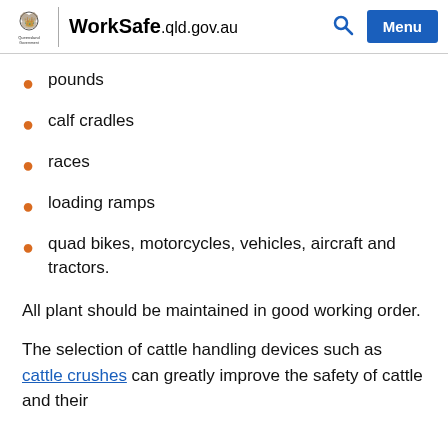WorkSafe.qld.gov.au
pounds
calf cradles
races
loading ramps
quad bikes, motorcycles, vehicles, aircraft and tractors.
All plant should be maintained in good working order.
The selection of cattle handling devices such as cattle crushes can greatly improve the safety of cattle and their